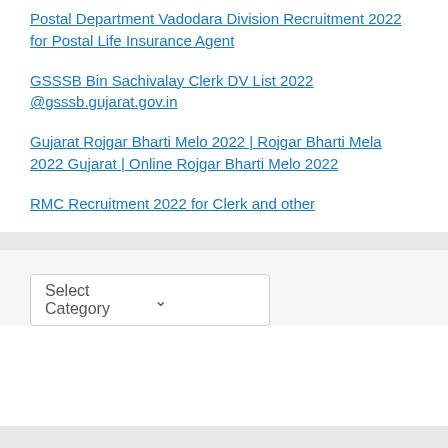Postal Department Vadodara Division Recruitment 2022 for Postal Life Insurance Agent
GSSSB Bin Sachivalay Clerk DV List 2022 @gsssb.gujarat.gov.in
Gujarat Rojgar Bharti Melo 2022 | Rojgar Bharti Mela 2022 Gujarat | Online Rojgar Bharti Melo 2022
RMC Recruitment 2022 for Clerk and other
Select Category